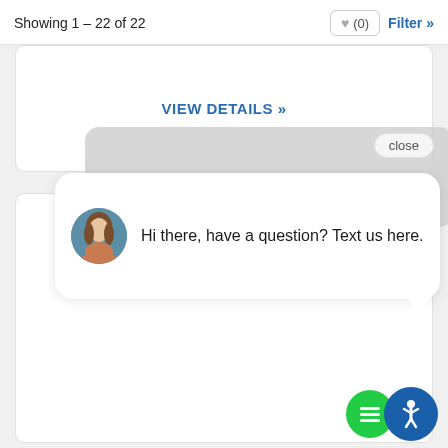Showing 1 – 22 of 22
♥ (0)
Filter »
VIEW DETAILS »
[Figure (screenshot): A chat widget popup showing a female avatar and text: Hi there, have a question? Text us here. With a close button and accessibility icons in the bottom right.]
close
Hi there, have a question? Text us here.